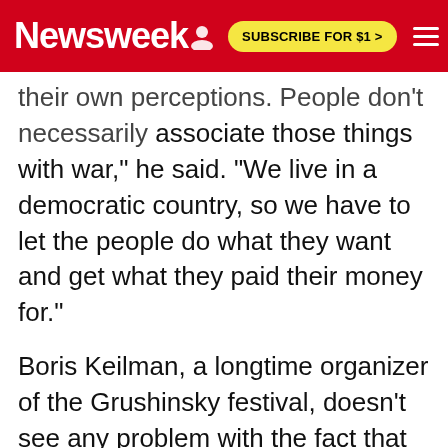Newsweek | SUBSCRIBE FOR $1 >
their own perceptions. People don't necessarily associate those things with war," he said. "We live in a democratic country, so we have to let the people do what they want and get what they paid their money for."
Boris Keilman, a longtime organizer of the Grushinsky festival, doesn't see any problem with the fact that the festival now has a military presence, he told Newsweek. "Maybe the Military Council wasn't the most appropriate name," he said. "But there will be no army and no marches. We just want to commemorate